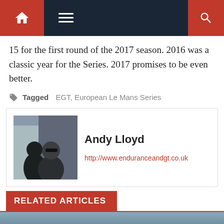Navigation bar with home icon, menu icon, and search icon
15 for the first round of the 2017 season. 2016 was a classic year for the Series. 2017 promises to be even better.
Tagged EGT, European Le Mans Series
Andy Lloyd
http://www.enduranceandgt.co.uk
RELATED ARTICLES
[Figure (photo): Forest landscape with dense conifer trees on a hillside, dark blue-grey tones]